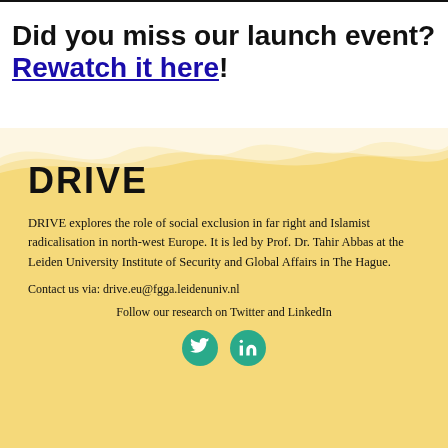Did you miss our launch event? Rewatch it here!
DRIVE
DRIVE explores the role of social exclusion in far right and Islamist radicalisation in north-west Europe. It is led by Prof. Dr. Tahir Abbas at the Leiden University Institute of Security and Global Affairs in The Hague.
Contact us via: drive.eu@fgga.leidenuniv.nl
Follow our research on Twitter and LinkedIn
[Figure (illustration): Two teal circular social media icon buttons: Twitter bird icon and LinkedIn 'in' icon]